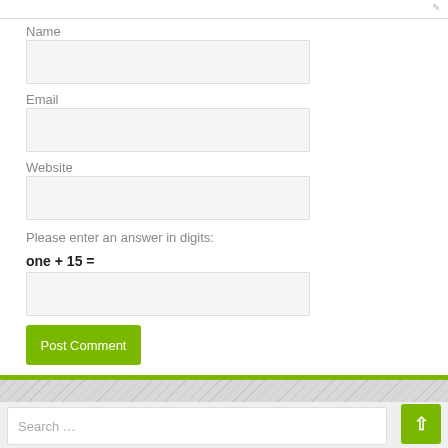Name
Email
Website
Please enter an answer in digits:
Post Comment
Search …